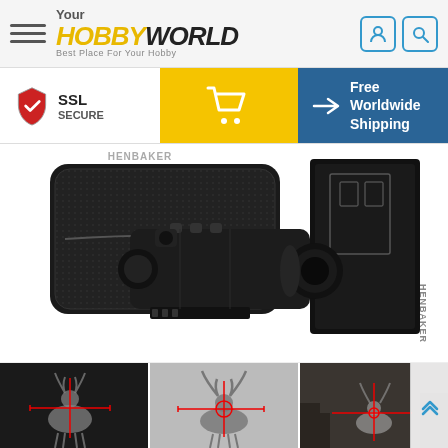[Figure (screenshot): Website header with hamburger menu, YourHobbyWorld logo, user account icon and search icon on a light grey background]
[Figure (infographic): Info bar showing SSL Secure badge on left, yellow shopping cart button in centre, and blue Free Worldwide Shipping section on right]
[Figure (photo): Night vision monocular device (HENBAKER brand) displayed with its carrying case and product box on a white background]
[Figure (photo): Thumbnail strip showing three wildlife/hunting night-vision images with red crosshair overlays (deer in various lighting conditions), with a scroll-up button on the right]